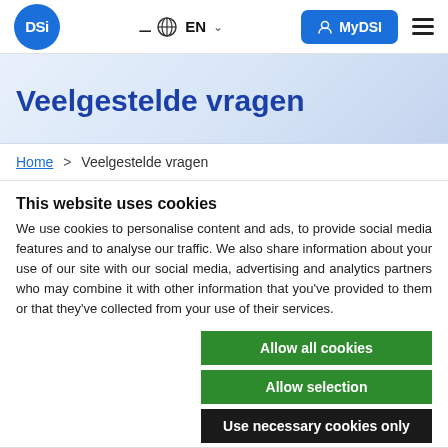DSi | EN | MyDSI
Veelgestelde vragen
Home > Veelgestelde vragen
This website uses cookies
We use cookies to personalise content and ads, to provide social media features and to analyse our traffic. We also share information about your use of our site with our social media, advertising and analytics partners who may combine it with other information that you've provided to them or that they've collected from your use of their services.
Allow all cookies
Allow selection
Use necessary cookies only